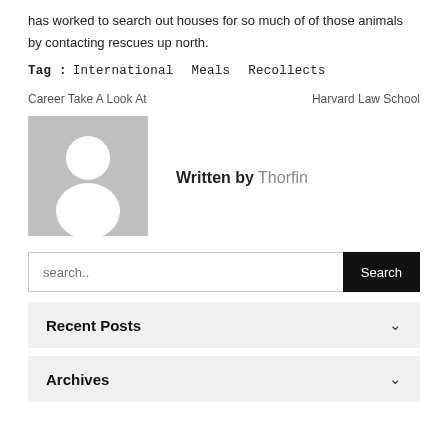has worked to search out houses for so much of of those animals by contacting rescues up north.
Tag : International   Meals   Recollects
Career Take A Look At      Harvard Law School
[Figure (illustration): Generic user avatar placeholder: gray square background with white silhouette of a person (circle head, rounded body)]
Written by Thorfin
search..
Recent Posts
Archives